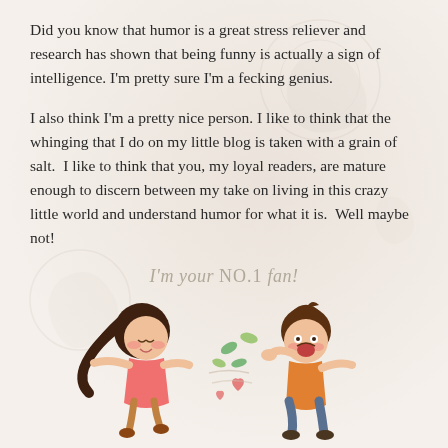Did you know that humor is a great stress reliever and research has shown that being funny is actually a sign of intelligence. I'm pretty sure I'm a fecking genius.
I also think I'm a pretty nice person. I like to think that the whinging that I do on my little blog is taken with a grain of salt.  I like to think that you, my loyal readers, are mature enough to discern between my take on living in this crazy little world and understand humor for what it is.  Well maybe not!
I'm your NO.1 fan!
[Figure (illustration): Two cartoon characters: a girl with long dark hair in a pink dress and a boy with brown hair in an orange outfit, surrounded by floating leaves and hearts, facing each other.]
Last night I received this email and when you read it try